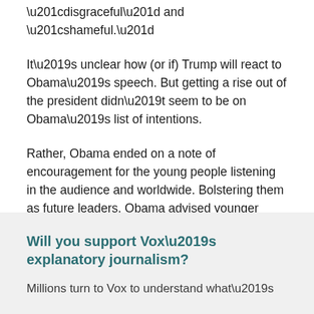“disgraceful” and “shameful.”
It’s unclear how (or if) Trump will react to Obama’s speech. But getting a rise out of the president didn’t seem to be on Obama’s list of intentions.
Rather, Obama ended on a note of encouragement for the young people listening in the audience and worldwide. Bolstering them as future leaders, Obama advised younger generations to “keep believing, keep marching, keep building, [and] keep raising your voice.”
Will you support Vox’s explanatory journalism?
Millions turn to Vox to understand what’s